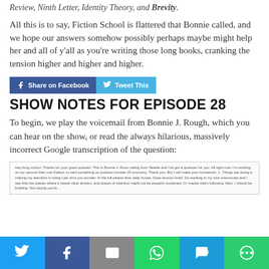Review, Ninth Letter, Identity Theory, and Brevity.
All this is to say, Fiction School is flattered that Bonnie called, and we hope our answers somehow possibly perhaps maybe might help her and all of y’all as you’re writing those long books, cranking the tension higher and higher and higher.
[Figure (infographic): Share on Facebook and Tweet This social media buttons]
SHOW NOTES FOR EPISODE 28
To begin, we play the voicemail from Bonnie J. Rough, which you can hear on the show, or read the always hilarious, massively incorrect Google transcription of the question:
[Figure (screenshot): Google transcription text box showing auto-transcribed voicemail text]
[Figure (infographic): Bottom social sharing bar with Twitter, Facebook, Email, WhatsApp, SMS, and More icons]